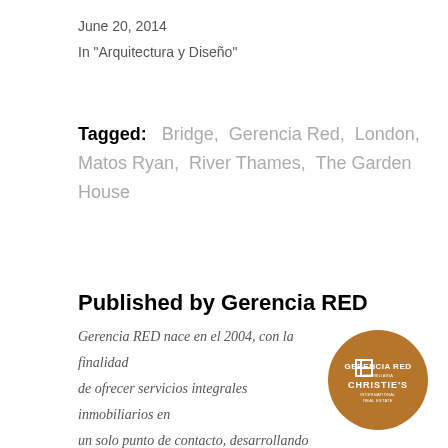June 20, 2014
In "Arquitectura y Diseño"
Tagged:   Bridge,  Gerencia Red,  London,  Matos Ryan,  River Thames,  The Garden House
Published by Gerencia RED
[Figure (logo): Gerencia RED and Christie's International Real Estate logo on a brown/amber circular badge]
Gerencia RED nace en el 2004, con la finalidad de ofrecer servicios integrales inmobiliarios en un solo punto de contacto, desarrollando las áreas de negocio de Comercialización de Inmuebles, Desarrollos Inmobiliarios, Fondos de Inversión Inmobiliaria y Administración de Inmuebles, para abarcar totalmente el ciclo de Bienes Raíces. Contamos con un staff de profesionales con mas de 20 años de experiencia en el mercado inmobiliario.